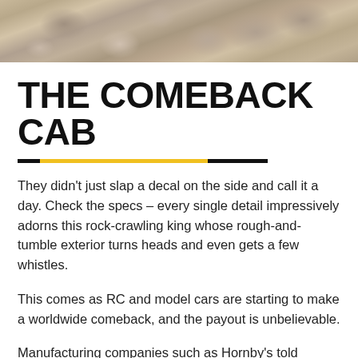[Figure (photo): Rocky granite surface texture, close-up photo of rough stone]
THE COMEBACK CAB
They didn't just slap a decal on the side and call it a day. Check the specs – every single detail impressively adorns this rock-crawling king whose rough-and-tumble exterior turns heads and even gets a few whistles.
This comes as RC and model cars are starting to make a worldwide comeback, and the payout is unbelievable.
Manufacturing companies such as Hornby's told Autoblog.com they had to airfreight more than